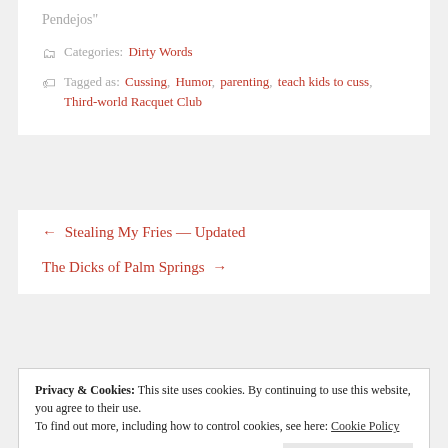Pendejos"
Categories: Dirty Words
Tagged as: Cussing, Humor, parenting, teach kids to cuss, Third-world Racquet Club
← Stealing My Fries — Updated
The Dicks of Palm Springs →
Privacy & Cookies: This site uses cookies. By continuing to use this website, you agree to their use.
To find out more, including how to control cookies, see here: Cookie Policy
Close and accept